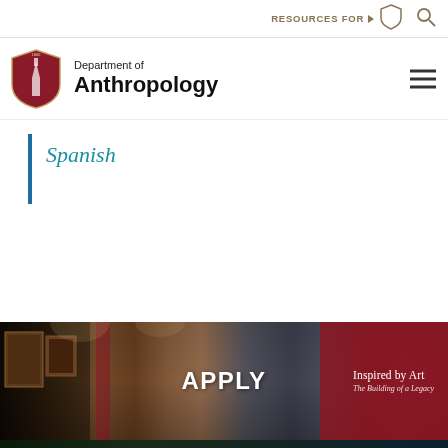RESOURCES FOR
Department of Anthropology
Spanish
[Figure (screenshot): Museum gallery interior with artwork on walls showing 'APPLY' text overlay and 'Inspired by Art – The Building of a Legacy' signage on right side]
[Figure (photo): Partial bottom image strip, appears to be a dark blue/green outdoor scene]